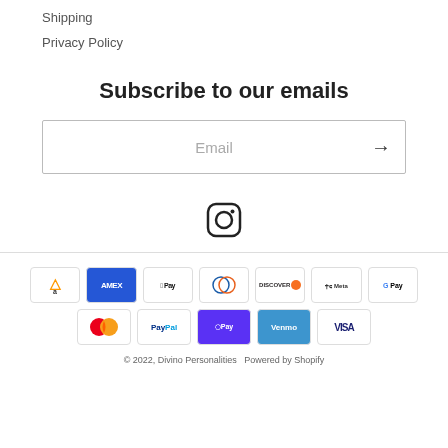Shipping
Privacy Policy
Subscribe to our emails
Email
[Figure (logo): Instagram icon]
[Figure (infographic): Payment method icons: Amazon, Amex, Apple Pay, Diners Club, Discover, Meta Pay, Google Pay, Mastercard, PayPal, Shop Pay, Venmo, Visa]
© 2022, Divino Personalities  Powered by Shopify